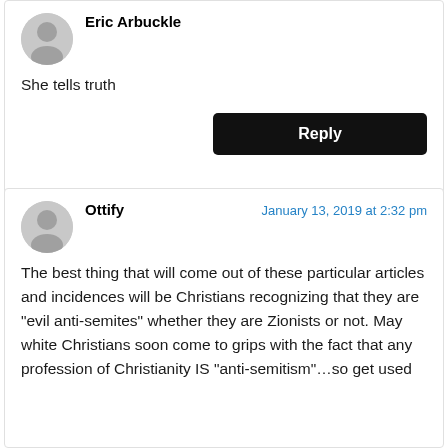Eric Arbuckle
She tells truth
Ottify
January 13, 2019 at 2:32 pm
The best thing that will come out of these particular articles and incidences will be Christians recognizing that they are “evil anti-semites” whether they are Zionists or not. May white Christians soon come to grips with the fact that any profession of Christianity IS “anti-semitism”…so get used